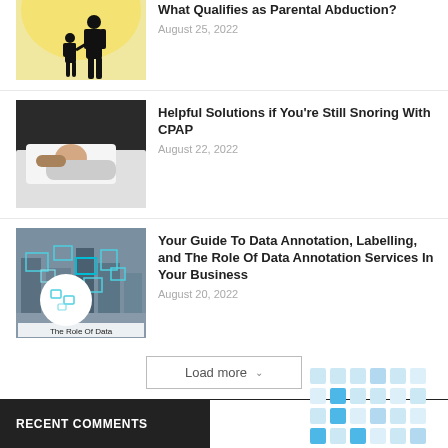[Figure (photo): Silhouette of adult and child holding hands against bright background (parental abduction article image)]
What Qualifies as Parental Abduction?
August 25, 2022
[Figure (photo): Woman lying in bed appearing distressed, snoring/CPAP article image]
Helpful Solutions if You're Still Snoring With CPAP
August 22, 2022
[Figure (photo): Data annotation image showing city scene with bounding boxes overlaid, labeled 'The Role Of Data']
Your Guide To Data Annotation, Labelling, and The Role Of Data Annotation Services In Your Business
August 20, 2022
Load more
RECENT COMMENTS
[Figure (other): Calendar/heatmap widget with light blue squares]